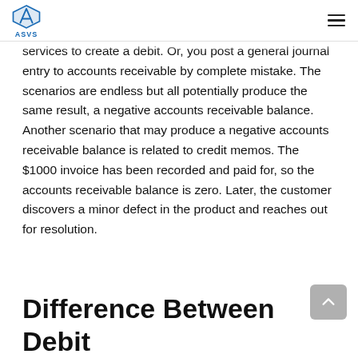ASVS
services to create a debit. Or, you post a general journal entry to accounts receivable by complete mistake. The scenarios are endless but all potentially produce the same result, a negative accounts receivable balance. Another scenario that may produce a negative accounts receivable balance is related to credit memos. The $1000 invoice has been recorded and paid for, so the accounts receivable balance is zero. Later, the customer discovers a minor defect in the product and reaches out for resolution.
Difference Between Debit